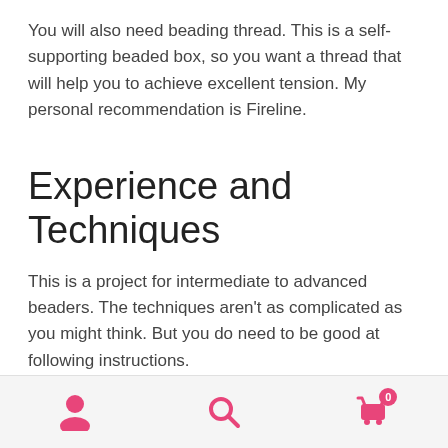You will also need beading thread. This is a self-supporting beaded box, so you want a thread that will help you to achieve excellent tension. My personal recommendation is Fireline.
Experience and Techniques
This is a project for intermediate to advanced beaders. The techniques aren't as complicated as you might think. But you do need to be good at following instructions.
You are going to be working in Peyote stitch, using the circular and tubular variations. You should be comfortable
Navigation bar with user, search, and cart icons